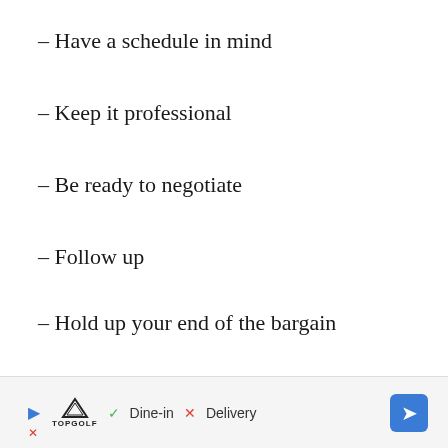– Have a schedule in mind
– Keep it professional
– Be ready to negotiate
– Follow up
– Hold up your end of the bargain
By following these tips, you'll be able to have a productive conversation with your boss. You may increase your chances of getting
[Figure (other): Advertisement bar showing TopGolf with Dine-in and Delivery options and a navigation arrow button]